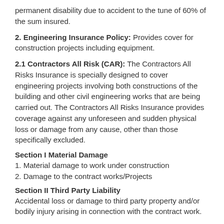permanent disability due to accident to the tune of 60% of the sum insured.
2. Engineering Insurance Policy: Provides cover for construction projects including equipment.
2.1 Contractors All Risk (CAR): The Contractors All Risks Insurance is specially designed to cover engineering projects involving both constructions of the building and other civil engineering works that are being carried out. The Contractors All Risks Insurance provides coverage against any unforeseen and sudden physical loss or damage from any cause, other than those specifically excluded.
Section I Material Damage
1. Material damage to work under construction
2. Damage to the contract works/Projects
Section II Third Party Liability
Accidental loss or damage to third party property and/or bodily injury arising in connection with the contract work.
The policy also provides cover for the maintenance period...